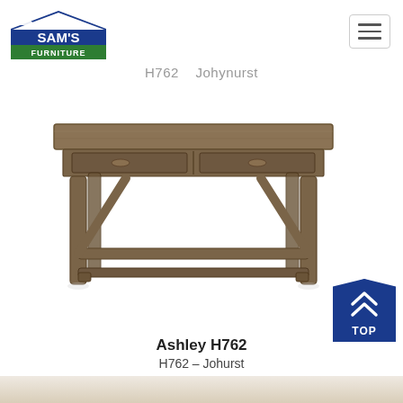[Figure (logo): Sam's Furniture logo with house icon, green and navy colors]
H762 - Johynurst (partially visible previous product name)
[Figure (photo): Ashley H762 Johurst rustic brown wood desk with two drawers and trestle-style legs, shown on white background]
Ashley H762
H762 - Johurst
[Figure (photo): Partial bottom image of another furniture piece, barely visible]